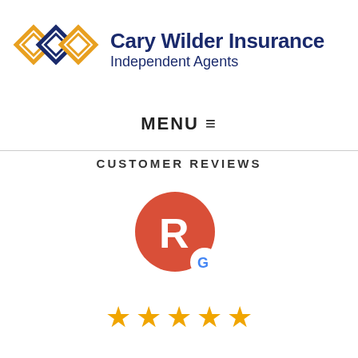[Figure (logo): Cary Wilder Insurance logo with linked diamond shapes in navy blue and gold, followed by company name 'Cary Wilder Insurance Independent Agents' in dark navy text]
MENU ≡
CUSTOMER REVIEWS
[Figure (illustration): Circular avatar icon with red/coral background and white letter R, with a small Google G badge in the lower right]
[Figure (other): Five gold star rating icons]